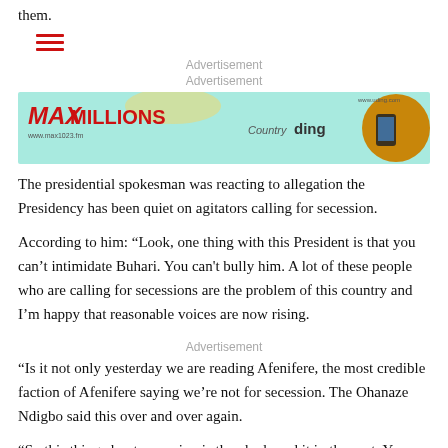them.
[Figure (other): Hamburger menu icon with three horizontal red lines]
Advertisement
Advertisement
[Figure (infographic): MaxMillions radio advertisement banner with teal background, red MaxMillions logo on left, 'Country ding' text in center, and a person with curly hair holding a phone on the right]
The presidential spokesman was reacting to allegation the Presidency has been quiet on agitators calling for secession.
According to him: “Look, one thing with this President is that you can’t intimidate Buhari. You can’t bully him. A lot of these people who are calling for secessions are the problem of this country and I’m happy that reasonable voices are now rising.
Advertisement
“Is it not only yesterday we are reading Afenifere, the most credible faction of Afenifere saying we’re not for secession. The Ohanaze Ndigbo said this over and over again.
“So this thing about secession is they had used it in the past. You